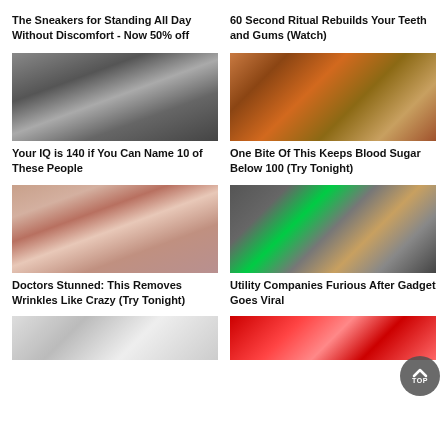The Sneakers for Standing All Day Without Discomfort - Now 50% off
60 Second Ritual Rebuilds Your Teeth and Gums (Watch)
[Figure (photo): Black and white photo of a man in a cap looking upward]
Your IQ is 140 if You Can Name 10 of These People
[Figure (photo): Close-up of a brown leaf or food item with orange element]
One Bite Of This Keeps Blood Sugar Below 100 (Try Tonight)
[Figure (photo): Close-up of aged wrinkled lips]
Doctors Stunned: This Removes Wrinkles Like Crazy (Try Tonight)
[Figure (photo): Green lit electrical plug/outlet with cables]
Utility Companies Furious After Gadget Goes Viral
[Figure (photo): Partial image bottom left - person]
[Figure (photo): Partial image bottom right - red and white striped]